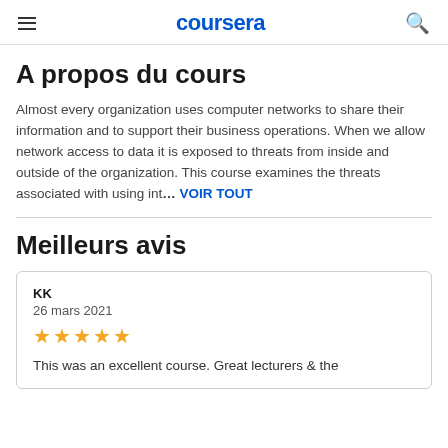coursera
A propos du cours
Almost every organization uses computer networks to share their information and to support their business operations. When we allow network access to data it is exposed to threats from inside and outside of the organization. This course examines the threats associated with using int… VOIR TOUT
Meilleurs avis
KK
26 mars 2021
★★★★★
This was an excellent course. Great lecturers & the